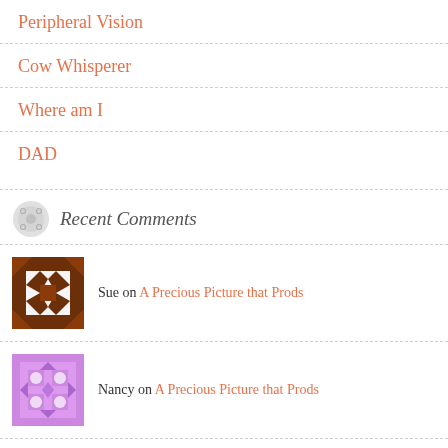Peripheral Vision
Cow Whisperer
Where am I
DAD
Recent Comments
Sue on A Precious Picture that Prods
Nancy on A Precious Picture that Prods
Tracy on A Precious Picture that Prods